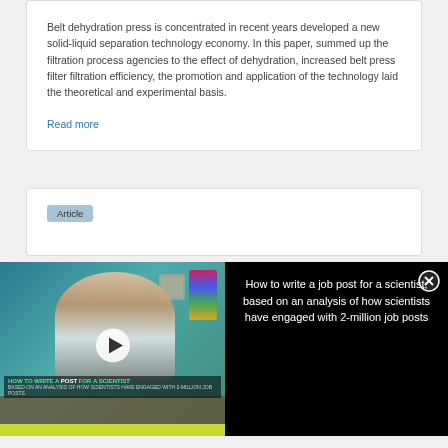Belt dehydration press is concentrated in recent years developed a new solid-liquid separation technology economy. In this paper, summed up the filtration process agencies to the effect of dehydration, increased belt press filter filtration efficiency, the promotion and application of the technology laid the theoretical and experimental basis.
Read more
Article
[Figure (screenshot): Video overlay banner showing a woman in an office setting with text 'HOW TO WRITE A POST FOR A SCIENTIST' on the thumbnail, and text 'How to write a job post for a scientist, based on an analysis of how scientists have engaged with 2-million job posts' on the right dark panel with a close button.]